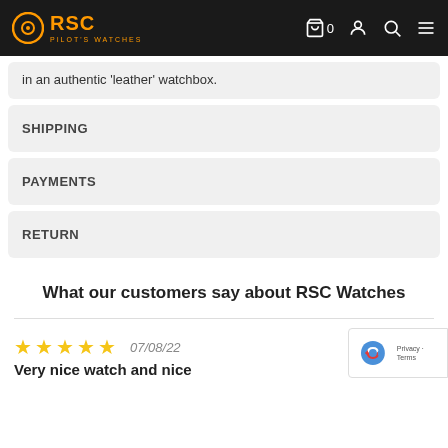RSC Pilot's Watches
in an authentic 'leather' watchbox.
SHIPPING
PAYMENTS
RETURN
What our customers say about RSC Watches
★★★★★  07/08/22
Very nice watch and nice